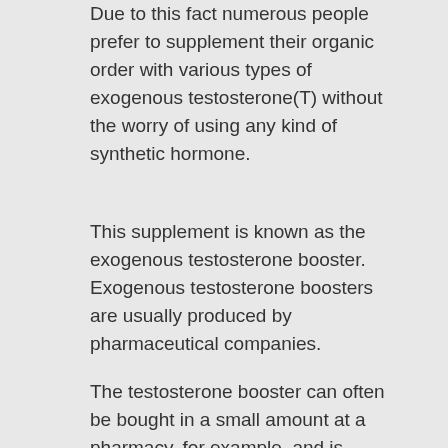Due to this fact numerous people prefer to supplement their organic order with various types of exogenous testosterone(T) without the worry of using any kind of synthetic hormone.
This supplement is known as the exogenous testosterone booster. Exogenous testosterone boosters are usually produced by pharmaceutical companies.
The testosterone booster can often be bought in a small amount at a pharmacy, for example, and is usually used for men aged between 20 and 60 years old.
These types are often available at cheap prices and are usually mixed with various synthetic (and naturally produced) hormones for maximum effect.
The most common exogenous testosterone